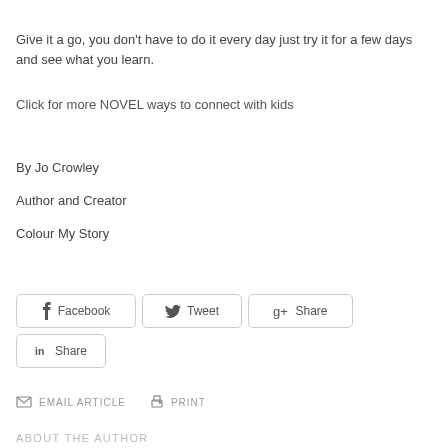Give it a go, you don't have to do it every day just try it for a few days and see what you learn.
Click for more NOVEL ways to connect with kids
By Jo Crowley
Author and Creator
Colour My Story
[Figure (other): Social share buttons: Facebook, Tweet, Google+ Share, LinkedIn Share]
EMAIL ARTICLE   PRINT
ABOUT THE AUTHOR